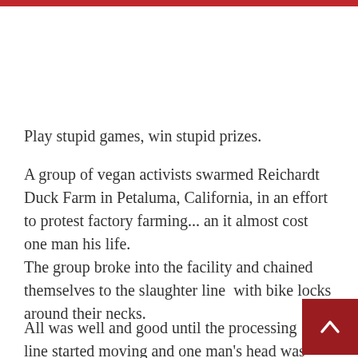Play stupid games, win stupid prizes.
A group of vegan activists swarmed Reichardt Duck Farm in Petaluma, California, in an effort to protest factory farming... an it almost cost one man his life.
The group broke into the facility and chained themselves to the slaughter line  with bike locks around their necks.
All was well and good until the processing line started moving and one man's head was wedged against a pole.